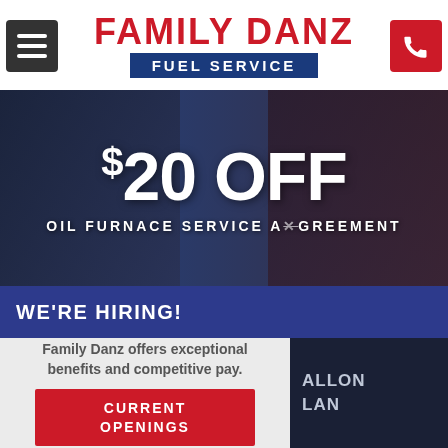[Figure (logo): Family Danz Fuel Service logo with hamburger menu button on left and phone button on right]
[Figure (infographic): Promotional banner showing '$20 OFF OIL FURNACE SERVICE AGREEMENT' over a dark photo background]
WE'RE HIRING!
Family Danz offers exceptional benefits and competitive pay.
CURRENT OPENINGS
[Figure (photo): Dark panel on right showing partial text 'ALLON LAN']